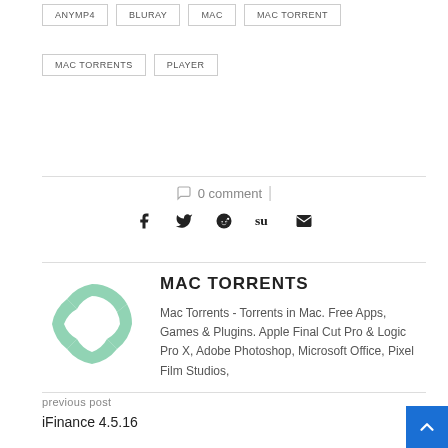ANYMP4
BLURAY
MAC
MAC TORRENT
MAC TORRENTS
PLAYER
0 comment
[Figure (other): Social share icons: Facebook, Twitter, Reddit, StumbleUpon, Email]
[Figure (logo): Mac Torrents circular logo in light green/mint color]
MAC TORRENTS
Mac Torrents - Torrents in Mac. Free Apps, Games & Plugins. Apple Final Cut Pro & Logic Pro X, Adobe Photoshop, Microsoft Office, Pixel Film Studios,
previous post
iFinance 4.5.16